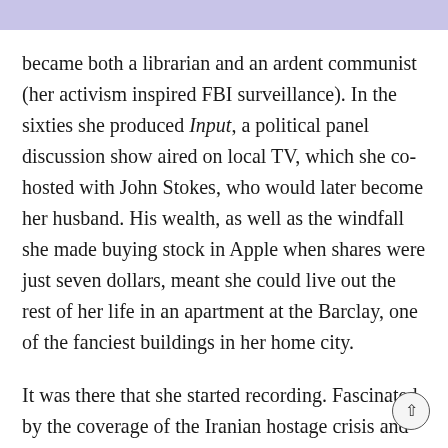became both a librarian and an ardent communist (her activism inspired FBI surveillance). In the sixties she produced Input, a political panel discussion show aired on local TV, which she co-hosted with John Stokes, who would later become her husband. His wealth, as well as the windfall she made buying stock in Apple when shares were just seven dollars, meant she could live out the rest of her life in an apartment at the Barclay, one of the fanciest buildings in her home city.
It was there that she started recording. Fascinated by the coverage of the Iranian hostage crisis and how the messaging around it kept changing – and very aware that stations largely didn't keep copies of their old